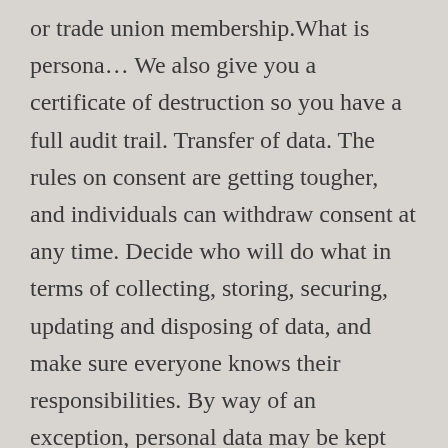or trade union membership.What is persona... We also give you a certificate of destruction so you have a full audit trail. Transfer of data. The rules on consent are getting tougher, and individuals can withdraw consent at any time. Decide who will do what in terms of collecting, storing, securing, updating and disposing of data, and make sure everyone knows their responsibilities. By way of an exception, personal data may be kept for a longer period for archiving purposes in the public interest or for reasons of scientific or historical research, provided that appropriate technical and organisational measures are put in place (such as anonymisation,